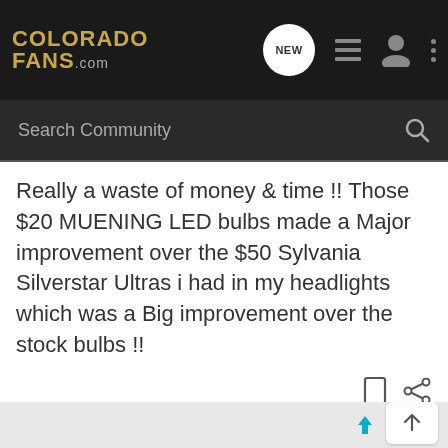COLORADOFANS.COM
Search Community
Really a waste of money & time !! Those $20 MUENING LED bulbs made a Major improvement over the $50 Sylvania Silverstar Ultras i had in my headlights which was a Big improvement over the stock bulbs !!